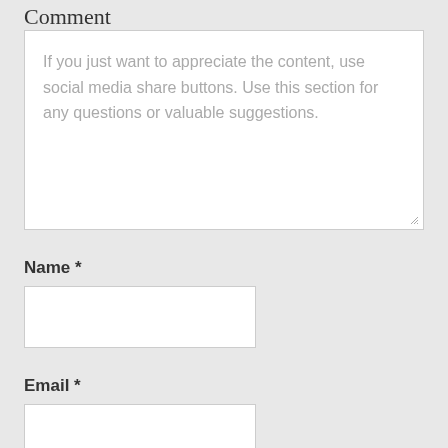Comment
If you just want to appreciate the content, use social media share buttons. Use this section for any questions or valuable suggestions.
Name *
Email *